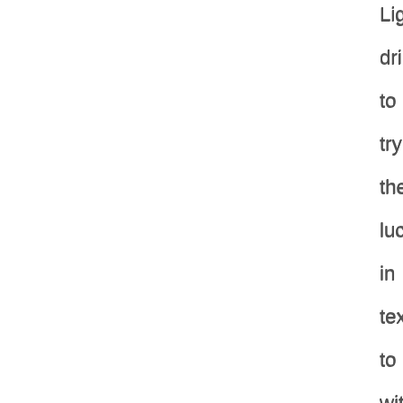Lig
dri
to
try
the
luc
in
tex
to
wit
Th
ca
run
fro
Ma
1
to
De